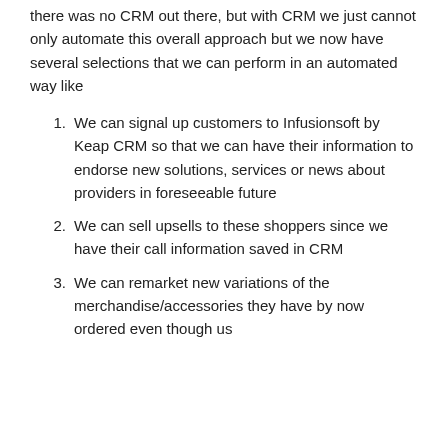there was no CRM out there, but with CRM we just cannot only automate this overall approach but we now have several selections that we can perform in an automated way like
We can signal up customers to Infusionsoft by Keap CRM so that we can have their information to endorse new solutions, services or news about providers in foreseeable future
We can sell upsells to these shoppers since we have their call information saved in CRM
We can remarket new variations of the merchandise/accessories they have by now ordered even though us